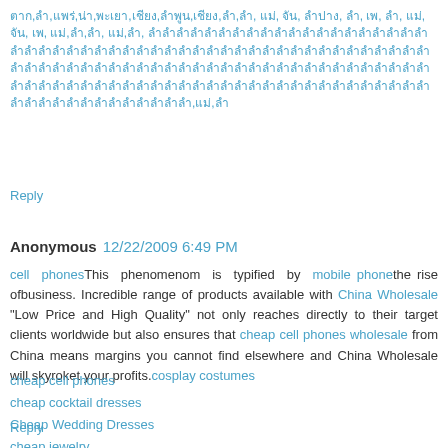ตาก,ลำ,แพร่,น่า,พะเยา,เชียง,ลำพูน,เชียง,ลำ,ลำ, แม่, จัน, ลำปาง, ลำ, เพ, ลำ, แม่, จัน, เพ, แม่,ลำ,ลำ, แม่,ลำ, ลำลำลำลำลำลำลำลำลำลำลำลำลำลำลำลำลำลำลำลำลำลำลำลำลำลำลำลำลำลำลำลำลำลำลำลำลำลำลำลำลำลำลำลำลำลำลำลำลำลำลำลำลำลำลำลำลำลำลำลำลำลำลำลำลำลำลำลำลำลำลำลำลำลำลำลำลำลำลำลำลำลำลำลำลำลำลำลำลำลำลำลำลำลำลำลำลำลำลำลำลำลำลำลำลำลำลำลำลำลำลำลำลำลำลำลำลำลำลำลำลำลำลำ,แม่,ลำ
Reply
Anonymous  12/22/2009 6:49 PM
cell phonesThis phenomenom is typified by mobile phonethe rise ofbusiness. Incredible range of products available with China Wholesale "Low Price and High Quality" not only reaches directly to their target clients worldwide but also ensures that cheap cell phones wholesale from China means margins you cannot find elsewhere and China Wholesale will skyroket your profits.cosplay costumes
cheap cell phones
cheap cocktail dresses
Cheap Wedding Dresses
cheap jewelry
Reply